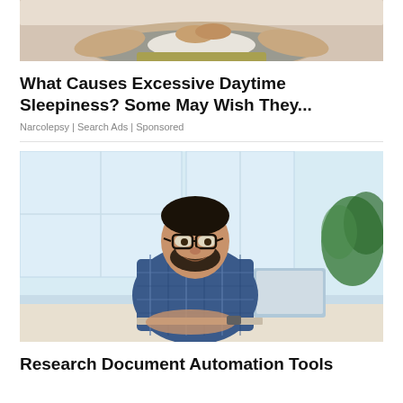[Figure (photo): Person lying down resting, viewed from above, wearing gray shirt, hands visible on chest or abdomen]
What Causes Excessive Daytime Sleepiness? Some May Wish They...
Narcolepsy | Search Ads | Sponsored
[Figure (photo): Man with glasses and beard wearing a plaid shirt working at a laptop in a bright office with large windows and a plant in background]
Research Document Automation Tools